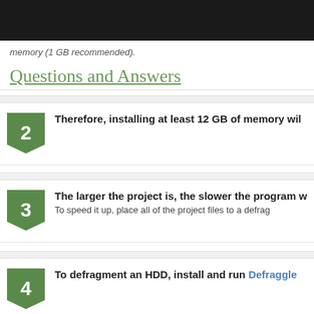[Figure (logo): VisiHow logo with tagline 'See it. Do it.' in green and orange on white background, within dark navigation bar with Home and Articles links]
memory (1 GB recommended).
Questions and Answers
2. Therefore, installing at least 12 GB of memory wil...
3. The larger the project is, the slower the program w... To speed it up, place all of the project files to a defrag...
4. To defragment an HDD, install and run Defraggle...